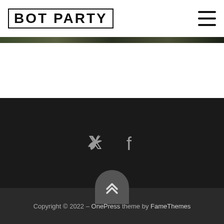BOT PARTY
[Figure (screenshot): Dark landscape image strip]
[Figure (infographic): Twitter and Facebook social media icons on dark background]
[Figure (other): Up/scroll-to-top chevron button on dark rounded tab]
Copyright © 2022 – OnePress theme by FameThemes